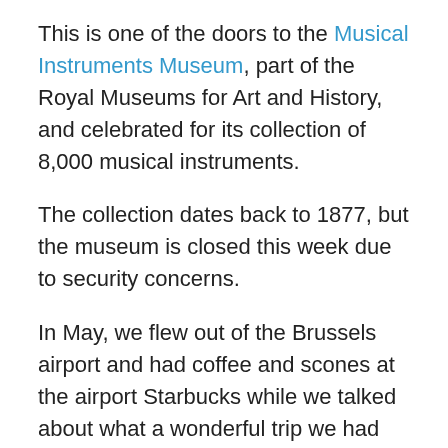This is one of the doors to the Musical Instruments Museum, part of the Royal Museums for Art and History, and celebrated for its collection of 8,000 musical instruments.
The collection dates back to 1877, but the museum is closed this week due to security concerns.
In May, we flew out of the Brussels airport and had coffee and scones at the airport Starbucks while we talked about what a wonderful trip we had enjoyed.
The news reports this week have been hard to watch. We continue to pray for all those who have lost loved ones, are injured, and for the rest of us who try to make sense out of something that is nonsensical.
I hope there will be a day when we can all live in a world